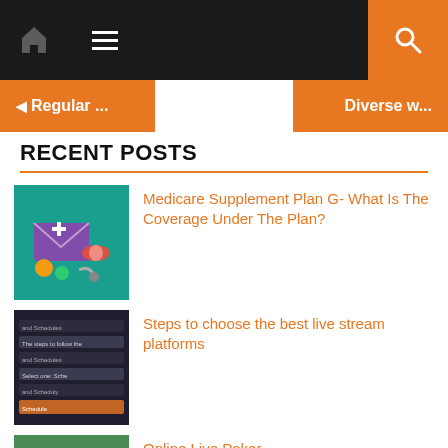Navigation bar with home icon, menu icon, and search button
◄ Regular ...
Diverse w...
RECENT POSTS
[Figure (photo): Medical illustration with pills, envelope and stethoscope on teal background]
Medicare Supplement Plan G- What Is The Coverage Under The Plan?
[Figure (screenshot): Dark screenshot showing schedule/timetable interface]
Steps to choose the best live stream platforms
[Figure (photo): Soccer player with ball on grass field]
Online Live Poker